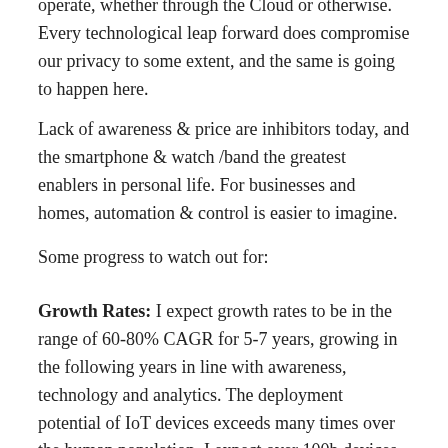operate, whether through the Cloud or otherwise. Every technological leap forward does compromise our privacy to some extent, and the same is going to happen here.
Lack of awareness & price are inhibitors today, and the smartphone & watch /band the greatest enablers in personal life. For businesses and homes, automation & control is easier to imagine.
Some progress to watch out for:
Growth Rates: I expect growth rates to be in the range of 60-80% CAGR for 5-7 years, growing in the following years in line with awareness, technology and analytics. The deployment potential of IoT devices exceeds many times over the human population. I expect over 100b devices to be in play, and the total market size of IoT expected to be in the range of $3-5 trillion USD over the next 10-15 years. Wearables have taken a leap; media adver... these trending devices have already started thats a good sign an...